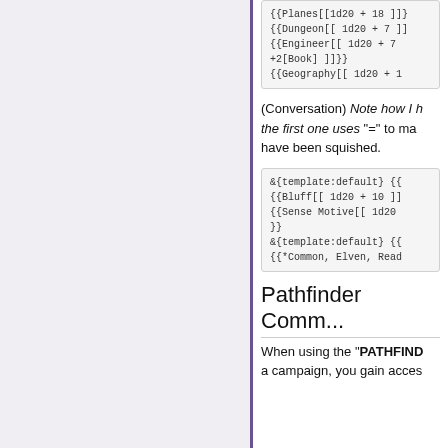[Figure (screenshot): Code block showing {{Planes[[1d20 + 18 ]]}, {{Dungeon[[ 1d20 + 7 ]]}, {{Engineer[[ 1d20 + 7 +2[Book] ]]}, {{Geography[[ 1d20 + 1 at top]
(Conversation) Note how I h... the first one uses "=" to ma... have been squished.
[Figure (screenshot): Code block showing &{template:default} {{, {{Bluff[[ 1d20 + 10 ]]}, {{Sense Motive[[ 1d20, }}, &{template:default} {{, {{*Common, Elven, Read]
Pathfinder Comm...
When using the "PATHFIND... a campaign, you gain acces...